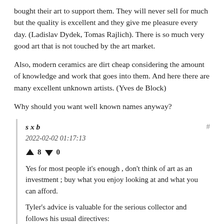bought their art to support them. They will never sell for much but the quality is excellent and they give me pleasure every day. (Ladislav Dydek, Tomas Rajlich). There is so much very good art that is not touched by the art market.
Also, modern ceramics are dirt cheap considering the amount of knowledge and work that goes into them. And here there are many excellent unknown artists. (Yves de Block)
Why should you want well known names anyway?
sxb
2022-02-02 01:17:13
↑ 8 ↓ 0
Yes for most people it's enough , don't think of art as an investment ; buy what you enjoy looking at and what you can afford.
Tyler's advice is valuable for the serious collector and follows his usual directives: